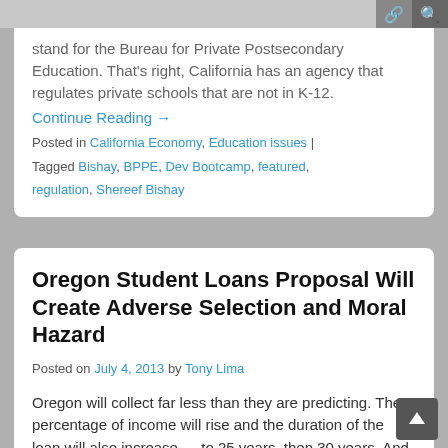stand for the Bureau for Private Postsecondary Education. That's right, California has an agency that regulates private schools that are not in K-12.
Continue Reading →
Posted in California Economy, Education issues | Tagged Bishay, BPPE, Dev Bootcamp, featured, regulation, Shereef Bishay
Oregon Student Loans Proposal Will Create Adverse Selection and Moral Hazard
Posted on July 4, 2013 by Tony Lima
Oregon will collect far less than they are predicting. The percentage of income will rise and the duration of the loan will also increase — to 25 years, then 30 years. And, just as Prof. Akerlof predicted decades ago, the scheme will eventually collapse.